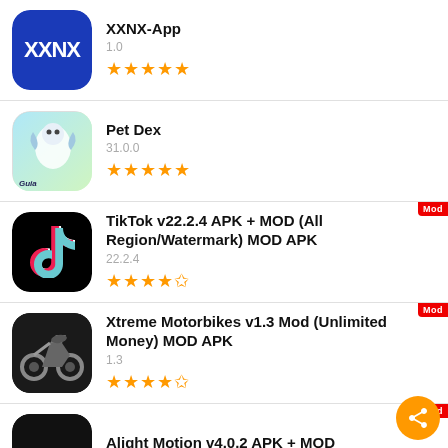XXNX-App
1.0
★★★★★
Pet Dex
31.0.0
★★★★★
TikTok v22.2.4 APK + MOD (All Region/Watermark) MOD APK
22.2.4
★★★★½
Xtreme Motorbikes v1.3 Mod (Unlimited Money) MOD APK
1.3
★★★★½
Alight Motion v4.0.2 APK + MOD (Premium/XML Allowed) MOD APK